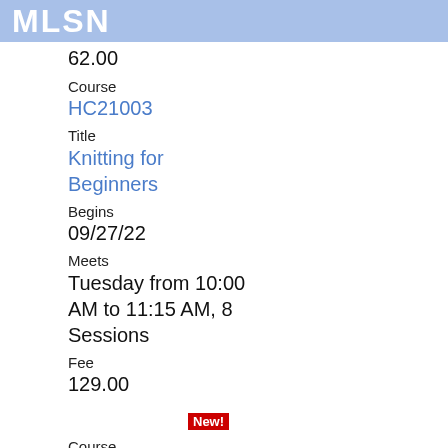MLSN
62.00
Course
HC21003
Title
Knitting for Beginners
Begins
09/27/22
Meets
Tuesday from 10:00 AM to 11:15 AM, 8 Sessions
Fee
129.00
New!
Course
HC21004
Title
Basics of Crochet